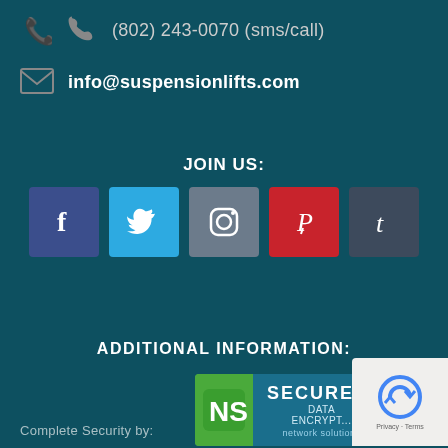(802) 243-0070 (sms/call)
info@suspensionlifts.com
JOIN US:
[Figure (infographic): Row of 5 social media icon buttons: Facebook (dark blue), Twitter (light blue), Instagram (grey-blue), Pinterest (red), Tumblr (dark blue-grey)]
ADDITIONAL INFORMATION:
[Figure (logo): Network Solutions Secure Data Encrypted badge with green NS logo]
Complete Security by:
[Figure (logo): reCAPTCHA badge with Privacy and Terms text]